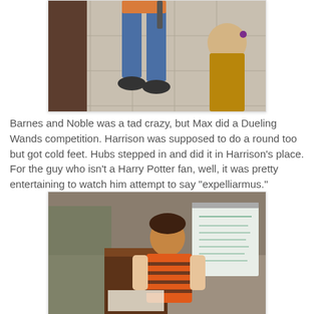[Figure (photo): Photo showing lower body of a child holding a wand in a tiled hallway, with a blond child partially visible at right]
Barnes and Noble was a tad crazy, but Max did a Dueling Wands competition. Harrison was supposed to do a round too but got cold feet. Hubs stepped in and did it in Harrison's place. For the guy who isn't a Harry Potter fan, well, it was pretty entertaining to watch him attempt to say "expelliarmus."
[Figure (photo): Photo of a young boy in a striped orange shirt standing at a podium or table inside a Barnes and Noble store, with a whiteboard visible in the background]